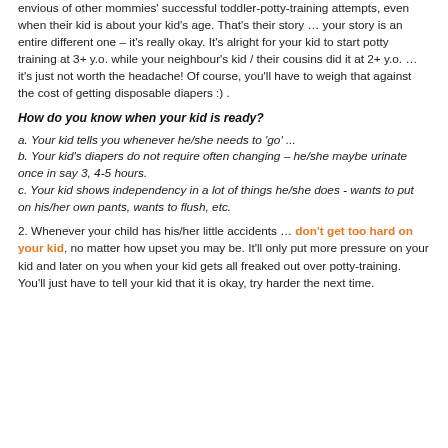envious of other mommies' successful toddler-potty-training attempts, even when their kid is about your kid's age. That's their story … your story is an entire different one – it's really okay. It's alright for your kid to start potty training at 3+ y.o. while your neighbour's kid / their cousins did it at 2+ y.o. … it's just not worth the headache! Of course, you'll have to weigh that against the cost of getting disposable diapers :) .
How do you know when your kid is ready?
a. Your kid tells you whenever he/she needs to 'go' ...
b. Your kid's diapers do not require often changing – he/she maybe urinate once in say 3, 4-5 hours.
c. Your kid shows independency in a lot of things he/she does - wants to put on his/her own pants, wants to flush, etc.
2. Whenever your child has his/her little accidents … don't get too hard on your kid, no matter how upset you may be. It'll only put more pressure on your kid and later on you when your kid gets all freaked out over potty-training. You'll just have to tell your kid that it is okay, try harder the next time.